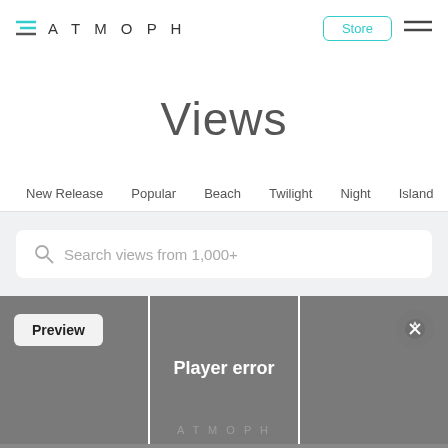ATMOPH — Store
Views
New Release  Popular  Beach  Twilight  Night  Island  Sea  Mou…
[Figure (screenshot): Search box with placeholder text: Search views from 1,000+]
[Figure (screenshot): Three video preview cards side by side: left card with 'Preview' button, center card showing 'Player error' with message 'The player is having trouble. We’ll have it back up and', right card with a circular icon with X/pin symbol]
The player is having trouble. We'll have it back up and